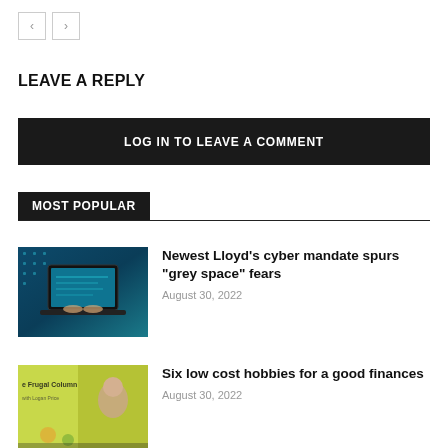[Figure (other): Navigation left/right arrow buttons]
LEAVE A REPLY
LOG IN TO LEAVE A COMMENT
MOST POPULAR
[Figure (photo): Cyber security laptop image with blue digital background]
Newest Lloyd’s cyber mandate spurs “grey space” fears
August 30, 2022
[Figure (photo): Frugal Column thumbnail with woman and yellow background]
Six low cost hobbies for a good finances
August 30, 2022